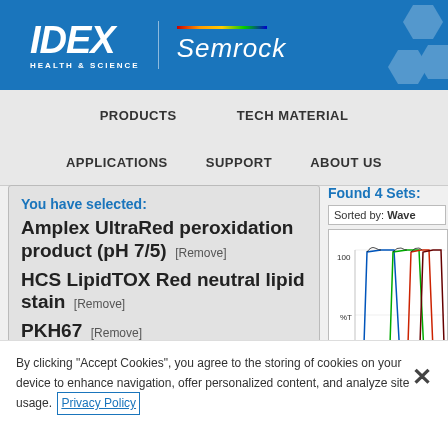[Figure (logo): IDEX Health & Science and Semrock logos on blue header background with hexagonal decorative elements]
PRODUCTS   TECH MATERIAL
APPLICATIONS   SUPPORT   ABOUT US
You have selected:
Amplex UltraRed peroxidation product (pH 7/5) [Remove]
HCS LipidTOX Red neutral lipid stain [Remove]
PKH67 [Remove]
Red 650 [Remove]
Found 4 Sets:
Sorted by: Wave
[Figure (continuous-plot): Spectral transmission chart showing %T vs wavelength from 350nm, with multiple colored filter curves (red, green, blue, dark red lines) reaching near 100% transmission]
By clicking "Accept Cookies", you agree to the storing of cookies on your device to enhance navigation, offer personalized content, and analyze site usage. Privacy Policy